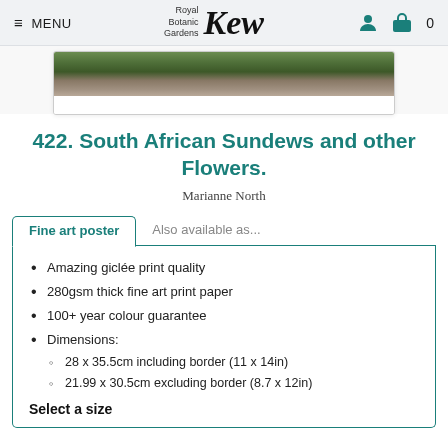≡ MENU  Royal Botanic Gardens Kew  [user icon] [cart icon] 0
[Figure (photo): Partial view of a botanical painting showing South African Sundews and other flowers, with dark green mossy foliage visible at top of an image card.]
422. South African Sundews and other Flowers.
Marianne North
Fine art poster  |  Also available as...
Amazing giclée print quality
280gsm thick fine art print paper
100+ year colour guarantee
Dimensions:
28 x 35.5cm including border (11 x 14in)
21.99 x 30.5cm excluding border (8.7 x 12in)
Select a size